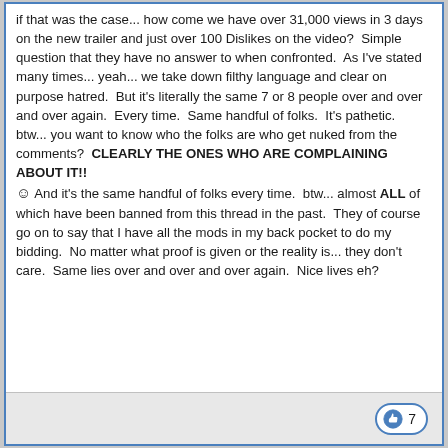if that was the case... how come we have over 31,000 views in 3 days on the new trailer and just over 100 Dislikes on the video?  Simple question that they have no answer to when confronted.  As I've stated many times... yeah... we take down filthy language and clear on purpose hatred.  But it's literally the same 7 or 8 people over and over and over again.  Every time.  Same handful of folks.  It's pathetic.  btw... you want to know who the folks are who get nuked from the comments?  CLEARLY THE ONES WHO ARE COMPLAINING ABOUT IT!! 🙂 And it's the same handful of folks every time.  btw... almost ALL of which have been banned from this thread in the past.  They of course go on to say that I have all the mods in my back pocket to do my bidding.  No matter what proof is given or the reality is... they don't care.  Same lies over and over and over again.  Nice lives eh?
7 (likes)